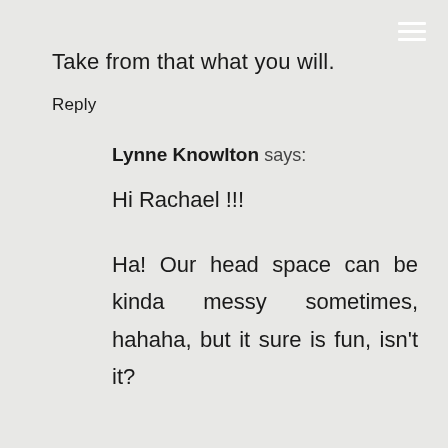Take from that what you will.
Reply
Lynne Knowlton says
Hi Rachael !!!
Ha! Our head space can be kinda messy sometimes, hahaha, but it sure is fun, isn't it?